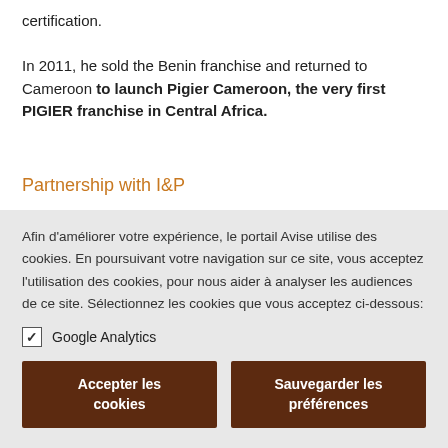certification.

In 2011, he sold the Benin franchise and returned to Cameroon to launch Pigier Cameroon, the very first PIGIER franchise in Central Africa.
Partnership with I&P
Afin d'améliorer votre expérience, le portail Avise utilise des cookies. En poursuivant votre navigation sur ce site, vous acceptez l'utilisation des cookies, pour nous aider à analyser les audiences de ce site. Sélectionnez les cookies que vous acceptez ci-dessous:
✓ Google Analytics
Accepter les cookies | Sauvegarder les préférences